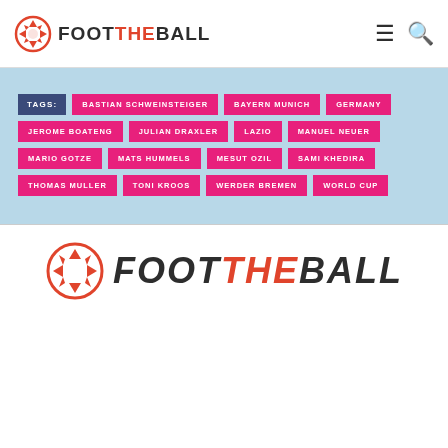FOOT THE BALL logo and navigation
TAGS: BASTIAN SCHWEINSTEIGER, BAYERN MUNICH, GERMANY, JEROME BOATENG, JULIAN DRAXLER, LAZIO, MANUEL NEUER, MARIO GOTZE, MATS HUMMELS, MESUT OZIL, SAMI KHEDIRA, THOMAS MULLER, TONI KROOS, WERDER BREMEN, WORLD CUP
[Figure (logo): FootTheBall logo at bottom of page]